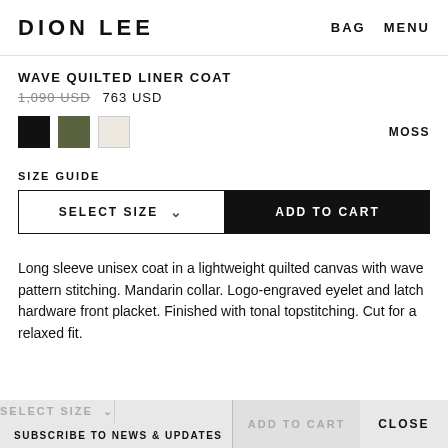DION LEE   BAG   MENU
WAVE QUILTED LINER COAT
1,090 USD   763 USD
[Figure (other): Three color swatches: black, moss green, cream/off-white. Color label: MOSS]
SIZE GUIDE
SELECT SIZE  ∨   ADD TO CART
Long sleeve unisex coat in a lightweight quilted canvas with wave pattern stitching. Mandarin collar. Logo-engraved eyelet and latch hardware front placket. Finished with tonal topstitching. Cut for a relaxed fit.
SELECT SIZE  ∨   SUBSCRIBE TO NEWS & UPDATES   ADD TO CART   CLOSE